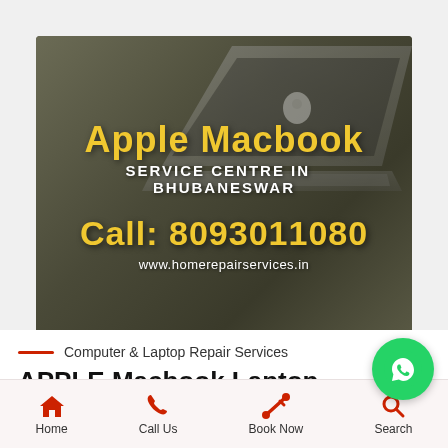[Figure (photo): Apple MacBook laptop on a dark background, service centre advertisement banner]
Apple Macbook
SERVICE CENTRE IN  BHUBANESWAR
Call: 8093011080
www.homerepairservices.in
Computer & Laptop Repair Services
APPLE Macbook Laptop
Home  Call Us  Book Now  Search